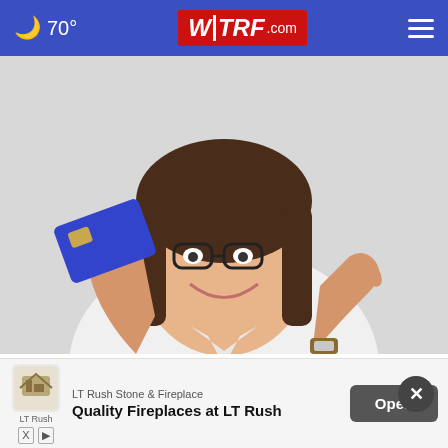🌙 70° WTRF.com ≡
[Figure (photo): Woman with glasses smiling and holding up a blue credit card while pointing at it with her other hand, wearing a white shirt and a watch]
Hands Down the Top Credit Card of 2022
CompareCredit
[Figure (photo): Partially visible bottom image, cut off]
LT Rush Stone & Fireplace
Quality Fireplaces at LT Rush
Open